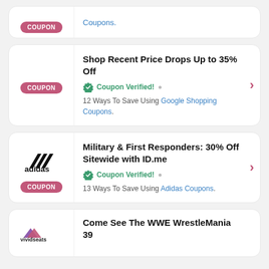[Figure (other): Partial coupon card at top with COUPON badge and 'Coupons.' link text]
Coupons.
[Figure (other): Coupon card: Shop Recent Price Drops Up to 35% Off, Coupon Verified, 12 Ways To Save Using Google Shopping Coupons.]
Shop Recent Price Drops Up to 35% Off
Coupon Verified! • 12 Ways To Save Using Google Shopping Coupons.
[Figure (other): Coupon card with Adidas logo: Military & First Responders: 30% Off Sitewide with ID.me, Coupon Verified, 13 Ways To Save Using Adidas Coupons.]
Military & First Responders: 30% Off Sitewide with ID.me
Coupon Verified! • 13 Ways To Save Using Adidas Coupons.
[Figure (other): Partial coupon card at bottom with Vividseats logo and title 'Come See The WWE WrestleMania 39']
Come See The WWE WrestleMania 39